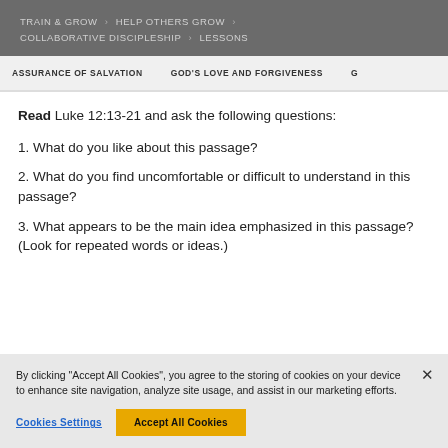TRAIN & GROW > HELP OTHERS GROW > COLLABORATIVE DISCIPLESHIP > LESSONS
ASSURANCE OF SALVATION   GOD'S LOVE AND FORGIVENESS   G
Read Luke 12:13-21 and ask the following questions:
1. What do you like about this passage?
2. What do you find uncomfortable or difficult to understand in this passage?
3. What appears to be the main idea emphasized in this passage? (Look for repeated words or ideas.)
By clicking “Accept All Cookies”, you agree to the storing of cookies on your device to enhance site navigation, analyze site usage, and assist in our marketing efforts.
Cookies Settings   Accept All Cookies